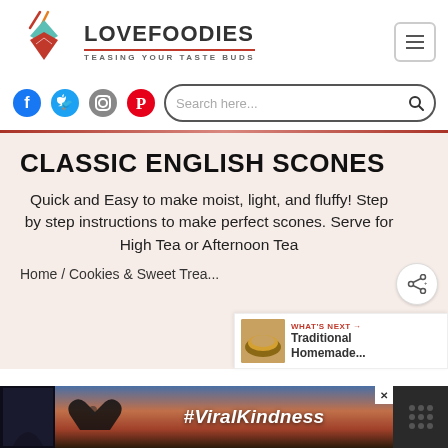[Figure (logo): LoveFoodies logo with kite/diamond shape in teal and red, with chopstick-style lines at the top]
LOVEFOODIES — TEASING YOUR TASTE BUDS
[Figure (infographic): Social media icons: Facebook, Twitter, Instagram, Pinterest]
[Figure (screenshot): Search bar with placeholder text 'Search here...' and magnifying glass icon]
CLASSIC ENGLISH SCONES
Quick and Easy to make moist, light, and fluffy! Step by step instructions to make perfect scones. Serve for High Tea or Afternoon Tea
Home / Cookies & Sweet Trea...
[Figure (infographic): Share button (circular with share icon)]
[Figure (infographic): What's Next panel showing 'Traditional Homemade...' with food thumbnail]
[Figure (photo): Advertisement banner at bottom showing hands making heart shape at sunset with text #ViralKindness]